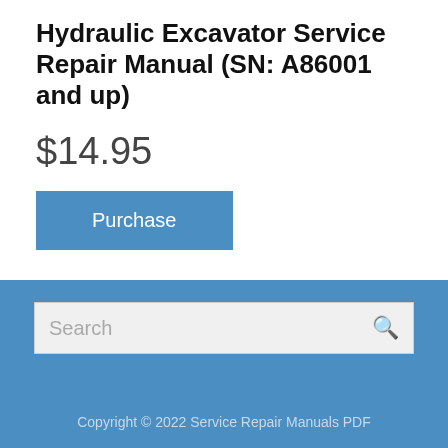Hydraulic Excavator Service Repair Manual (SN: A86001 and up)
$14.95
Purchase
Download Category: Komatsu
Search
Copyright © 2022 Service Repair Manuals PDF